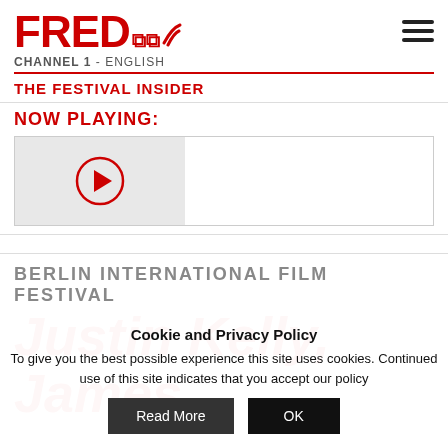FRED CHANNEL 1 - ENGLISH
THE FESTIVAL INSIDER
NOW PLAYING:
[Figure (other): Video player thumbnail with play button circle on grey background]
BERLIN INTERNATIONAL FILM FESTIVAL
Justin Kelly, James
Cookie and Privacy Policy
To give you the best possible experience this site uses cookies. Continued use of this site indicates that you accept our policy
Read More | OK